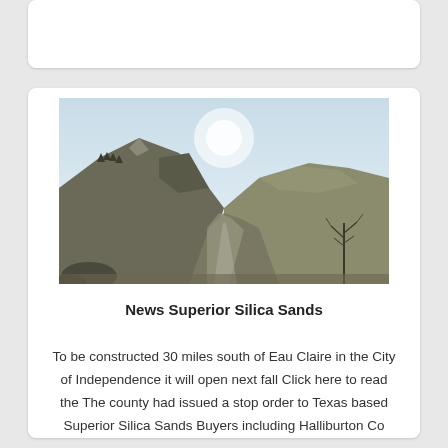[Figure (photo): Mountain landscape with a winding road through a valley, bare hillsides with sparse trees, light blue sky]
News Superior Silica Sands
To be constructed 30 miles south of Eau Claire in the City of Independence it will open next fall Click here to read the The county had issued a stop order to Texas based Superior Silica Sands Buyers including Halliburton Co HAL US